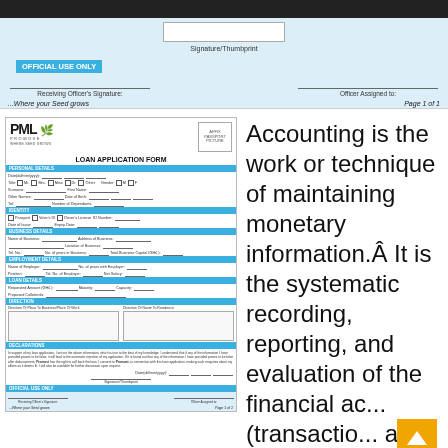Signature/Thumbprint | OFFICIAL USE ONLY
Receiving Officer's Signature: | Officer Assigned to:
...Where your Seed grows    Page 1 of 1
[Figure (illustration): PML Loan Application Form thumbnail showing personal details, identity, business details, employment details, loan details, direction, and declarations sections]
Accounting is the work or technique of maintaining monetary information.Â It is the systematic recording, reporting, and evaluation of the financial ac... (transactions) an individual...